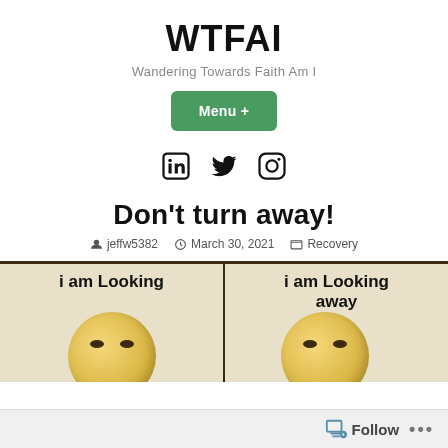WTFAI
Wandering Towards Faith Am I
Menu +
[Figure (illustration): Social media icons: LinkedIn, Twitter, Instagram]
Don't turn away!
jeffw5382   March 30, 2021   Recovery
[Figure (photo): Two-panel meme image: left panel shows emoji face with text 'i am Looking', right panel shows emoji face with text 'i am Looking away']
Follow  ...